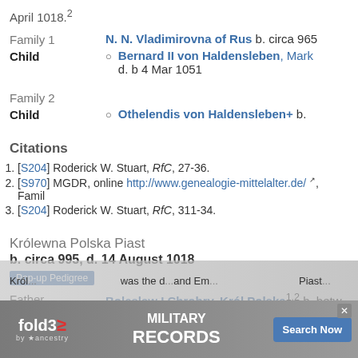April 1018.2
Family 1
N. N. Vladimirovna of Rus b. circa 965
Child
Bernard II von Haldensleben, Mark... d. b 4 Mar 1051
Family 2
Child
Othelendis von Haldensleben+ b.
Citations
1. [S204] Roderick W. Stuart, RfC, 27-36.
2. [S970] MGDR, online http://www.genealogie-mittelalter.de/, Famil...
3. [S204] Roderick W. Stuart, RfC, 311-34.
Królewna Polska Piast
b. circa 995, d. 14 August 1018
Pop-up Pedigree
Father  Boleslaw I Chrobry, Król Polska1,2 b. betw...
Mother  Emnildis, Herzogin von Polen2 b. circa 9...
Król... was the d... and Em... Piast...